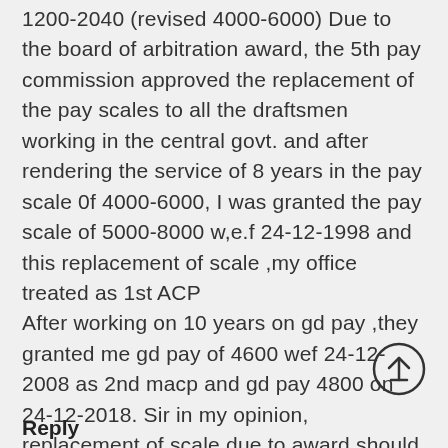1200-2040 (revised 4000-6000) Due to the board of arbitration award, the 5th pay commission approved the replacement of the pay scales to all the draftsmen working in the central govt. and after rendering the service of 8 years in the pay scale 0f 4000-6000, I was granted the pay scale of 5000-8000 w,e.f 24-12-1998 and this replacement of scale ,my office treated as 1st ACP After working on 10 years on gd pay ,they granted me gd pay of 4600 wef 24-12-2008 as 2nd macp and gd pay 4800 on 24-12-2018. Sir in my opinion, replacement of scale due to award should not be counted as 1st macp and i may be eligible for gd pay 5400 as 3rd macp kindly advise.
Reply